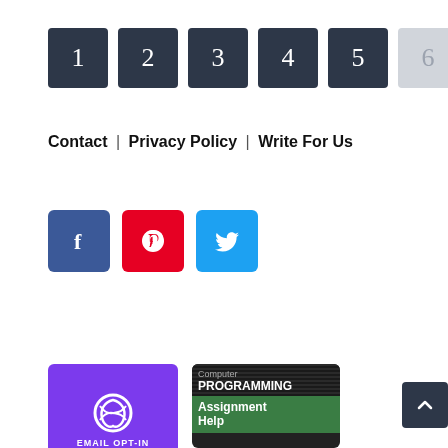[Figure (other): Pagination buttons numbered 1 through 7, with button 6 in light grey and all others in dark slate color]
Contact | Privacy Policy | Write For Us
[Figure (other): Social media icon buttons: Facebook (blue), Pinterest (red), Twitter (light blue)]
[Figure (other): Email Opt-In banner with purple background and circular logo]
[Figure (other): Computer Programming Assignment Help banner with dark top and green bottom]
[Figure (other): Back to top arrow button in dark slate]